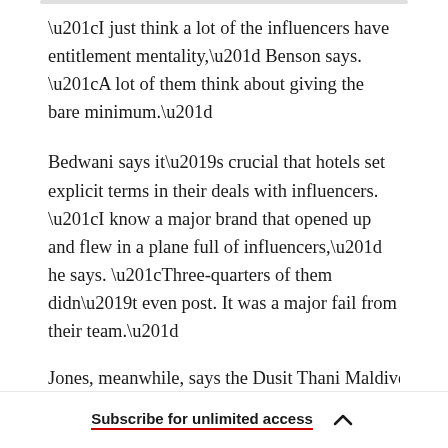“I just think a lot of the influencers have entitlement mentality,” Benson says. “A lot of them think about giving the bare minimum.”
Bedwani says it’s crucial that hotels set explicit terms in their deals with influencers. “I know a major brand that opened up and flew in a plane full of influencers,” he says. “Three-quarters of them didn’t even post. It was a major fail from their team.”
Jones, meanwhile, says the Dusit Thani Maldives
Subscribe for unlimited access